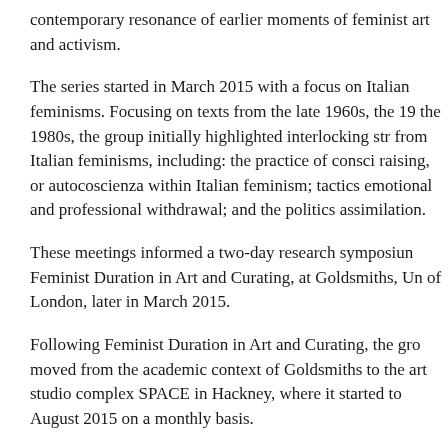contemporary resonance of earlier moments of feminist art and activism.
The series started in March 2015 with a focus on Italian feminisms. Focusing on texts from the late 1960s, the 1980s, the group initially highlighted interlocking strategies from Italian feminisms, including: the practice of consciousness raising, or autocoscienza within Italian feminism; tactics of emotional and professional withdrawal; and the politics of assimilation.
These meetings informed a two-day research symposium, Feminist Duration in Art and Curating, at Goldsmiths, University of London, later in March 2015.
Following Feminist Duration in Art and Curating, the group moved from the academic context of Goldsmiths to the art studio complex SPACE in Hackney, where it started to meet August 2015 on a monthly basis.